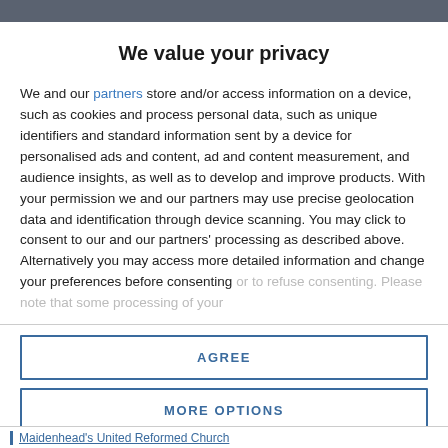We value your privacy
We and our partners store and/or access information on a device, such as cookies and process personal data, such as unique identifiers and standard information sent by a device for personalised ads and content, ad and content measurement, and audience insights, as well as to develop and improve products. With your permission we and our partners may use precise geolocation data and identification through device scanning. You may click to consent to our and our partners' processing as described above. Alternatively you may access more detailed information and change your preferences before consenting or to refuse consenting. Please note that some processing of your
AGREE
MORE OPTIONS
Maidenhead's United Reformed Church